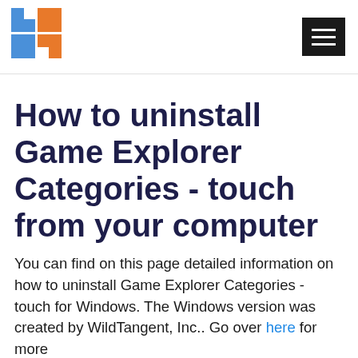[Figure (logo): Website logo: blue and orange geometric squares forming a stylized 'b' or windows-like icon]
How to uninstall Game Explorer Categories - touch from your computer
You can find on this page detailed information on how to uninstall Game Explorer Categories - touch for Windows. The Windows version was created by WildTangent, Inc.. Go over here for more